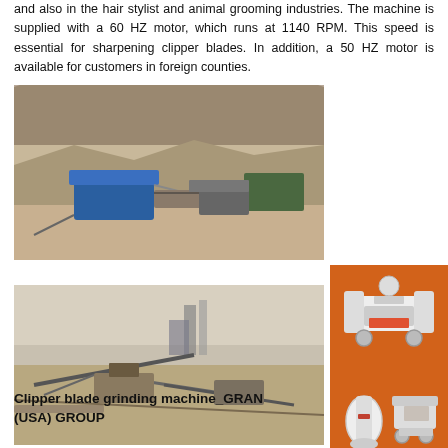and also in the hair stylist and animal grooming industries. The machine is supplied with a 60 HZ motor, which runs at 1140 RPM. This speed is essential for sharpening clipper blades. In addition, a 50 HZ motor is available for customers in foreign counties.
[Figure (photo): Outdoor industrial site photo showing mobile crushing/screening equipment in a quarry or mining area, with blue machinery and conveyor belts visible.]
[Figure (photo): Outdoor industrial site photo showing grinding/milling plant equipment in a dusty arid environment with conveyor systems.]
Clipper blade grinding machine_GRAN (USA) GROUP
[Figure (infographic): Orange sidebar advertisement showing industrial crusher and milling machines, a yellow banner reading 'Enjoy 3% discount', an orange 'Click to Chat' button with decorative icon, and a 'Enquiry' button.]